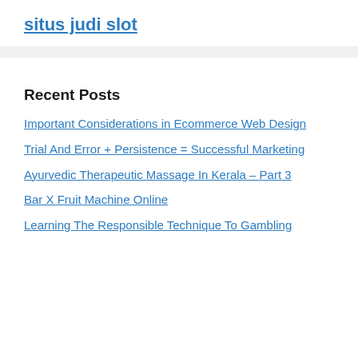situs judi slot
Recent Posts
Important Considerations in Ecommerce Web Design
Trial And Error + Persistence = Successful Marketing
Ayurvedic Therapeutic Massage In Kerala – Part 3
Bar X Fruit Machine Online
Learning The Responsible Technique To Gambling